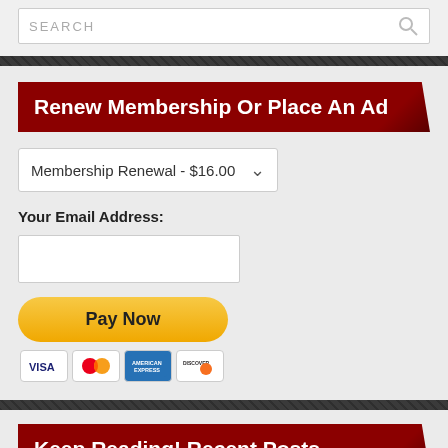[Figure (screenshot): Search bar with placeholder text SEARCH and a magnifying glass icon on the right]
Renew Membership Or Place An Ad
Membership Renewal - $16.00
Your Email Address:
[Figure (screenshot): PayPal Pay Now button with VISA, Mastercard, American Express, and Discover card icons below]
Keep Reading! Recent Posts
Aurora Awards Ballot announced!